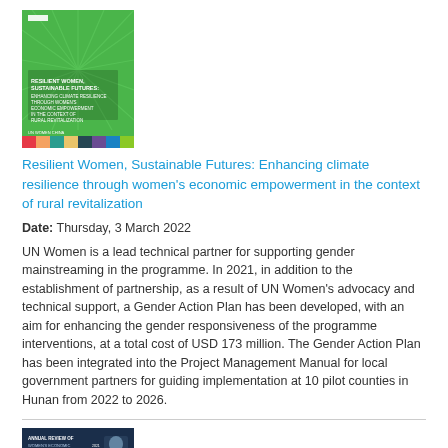[Figure (photo): Book cover: Resilient Women, Sustainable Futures report with green sunburst design and colorful bottom strip]
Resilient Women, Sustainable Futures: Enhancing climate resilience through women's economic empowerment in the context of rural revitalization
Date: Thursday, 3 March 2022
UN Women is a lead technical partner for supporting gender mainstreaming in the programme. In 2021, in addition to the establishment of partnership, as a result of UN Women's advocacy and technical support, a Gender Action Plan has been developed, with an aim for enhancing the gender responsiveness of the programme interventions, at a total cost of USD 173 million. The Gender Action Plan has been integrated into the Project Management Manual for local government partners for guiding implementation at 10 pilot counties in Hunan from 2022 to 2026.
[Figure (photo): Second publication cover with dark navy background and UN Women branding with a person photo below]